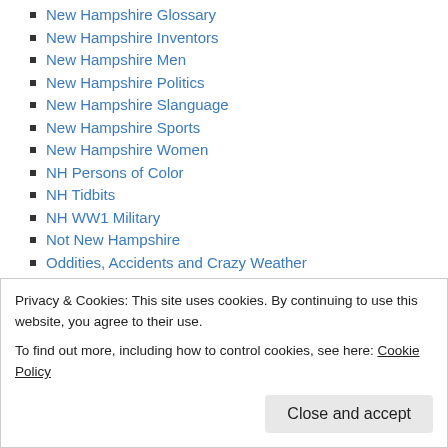New Hampshire Glossary
New Hampshire Inventors
New Hampshire Men
New Hampshire Politics
New Hampshire Slanguage
New Hampshire Sports
New Hampshire Women
NH Persons of Color
NH Tidbits
NH WW1 Military
Not New Hampshire
Oddities, Accidents and Crazy Weather
Personal History
Poetry
R.I.P
Really Old News
Recipes
Speechless Sunday
Privacy & Cookies: This site uses cookies. By continuing to use this website, you agree to their use.
To find out more, including how to control cookies, see here: Cookie Policy
Close and accept